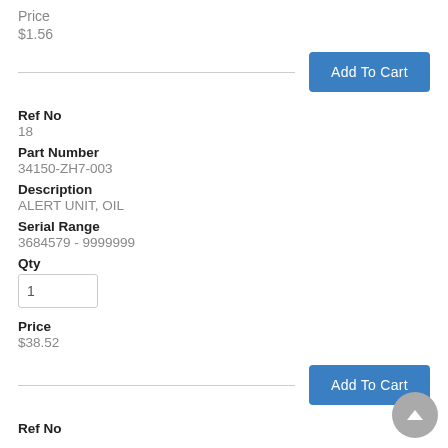Price
$1.56
Add To Cart
Ref No
18
Part Number
34150-ZH7-003
Description
ALERT UNIT, OIL
Serial Range
3684579 - 9999999
Qty
Price
$38.52
Add To Cart
Ref No